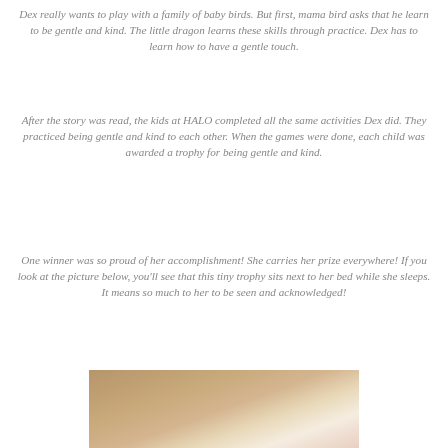Dex really wants to play with a family of baby birds. But first, mama bird asks that he learn to be gentle and kind. The little dragon learns these skills through practice. Dex has to learn how to have a gentle touch.
After the story was read, the kids at HALO completed all the same activities Dex did. They practiced being gentle and kind to each other. When the games were done, each child was awarded a trophy for being gentle and kind.
One winner was so proud of her accomplishment! She carries her prize everywhere! If you look at the picture below, you'll see that this tiny trophy sits next to her bed while she sleeps. It means so much to her to be seen and acknowledged!
[Figure (photo): Partial photo showing a warm brown/tan background with soft lighting, likely a bedside scene]